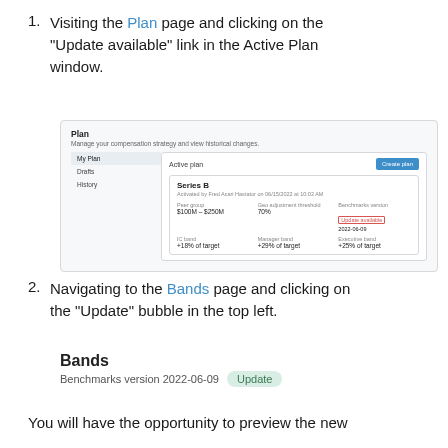Visiting the Plan page and clicking on the "Update available" link in the Active Plan window.
[Figure (screenshot): Screenshot of the Plan page showing My Plan tab active, Active plan section with Series B plan, and a red-boxed 'Update available' link in the Benchmarks version field (2022-06-09).]
Navigating to the Bands page and clicking on the "Update" bubble in the top left.
[Figure (screenshot): Screenshot showing the Bands page header with bold 'Bands' title, 'Benchmarks version 2022-06-09' subtitle, and a green 'Update' bubble/button.]
You will have the opportunity to preview the new